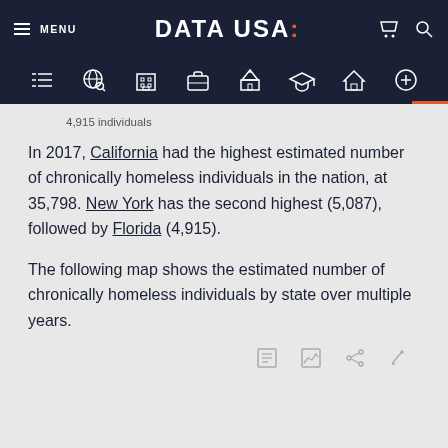MENU  DATA USA:
4,915 individuals
In 2017, California had the highest estimated number of chronically homeless individuals in the nation, at 35,798. New York has the second highest (5,087), followed by Florida (4,915).
The following map shows the estimated number of chronically homeless individuals by state over multiple years.